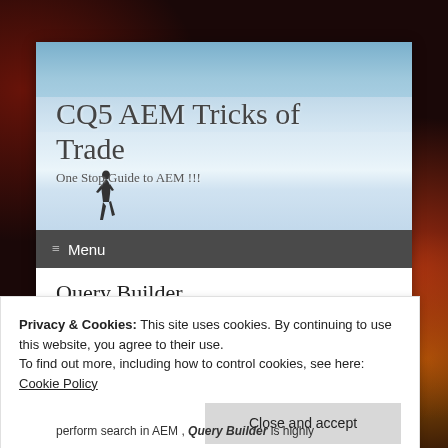[Figure (screenshot): Website header image with sky and salt flats reflection, showing a silhouette of a person walking, overlaid with blog title text 'CQ5 AEM Tricks of Trade' and subtitle 'One Stop Guide to AEM !!!']
CQ5 AEM Tricks of Trade
One Stop Guide to AEM !!!
Menu
Query Builder
Privacy & Cookies: This site uses cookies. By continuing to use this website, you agree to their use.
To find out more, including how to control cookies, see here: Cookie Policy
Close and accept
perform search in AEM , Query Builder is highly